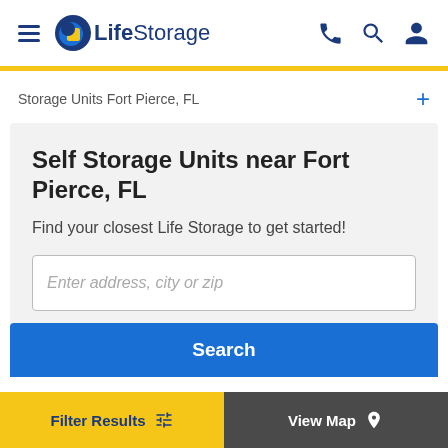LifeStorage
Storage Units Fort Pierce, FL
Self Storage Units near Fort Pierce, FL
Find your closest Life Storage to get started!
Enter address, city or zip
Search
Filter Results
View Map